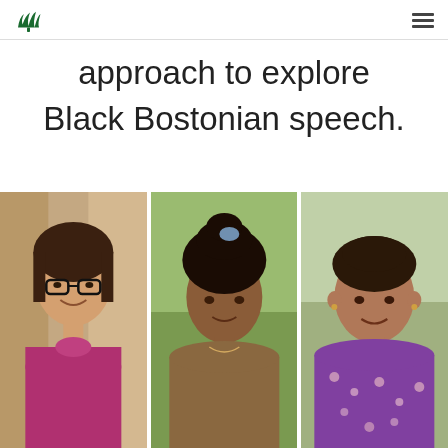[University logo — green leaf/tree mark]
approach to explore Black Bostonian speech.
[Figure (photo): Three portrait photos side by side: left — a young woman with glasses wearing a magenta turtleneck sweater; center — a young Black woman with curly hair in a ponytail wearing a brown top; right — a woman with short hair wearing a purple floral top.]